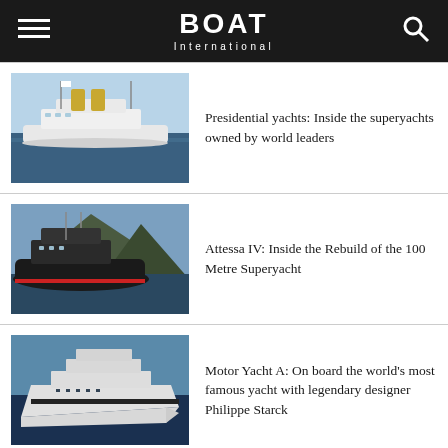BOAT International
[Figure (photo): Presidential superyacht on calm sea, large white ship with yellow funnels]
Presidential yachts: Inside the superyachts owned by world leaders
[Figure (photo): Black-hulled superyacht Attessa IV sailing near mountainous coastline]
Attessa IV: Inside the Rebuild of the 100 Metre Superyacht
[Figure (photo): Motor Yacht A, futuristic white yacht at sea]
Motor Yacht A: On board the world's most famous yacht with legendary designer Philippe Starck
SIMILAR YACHTS FOR SALE